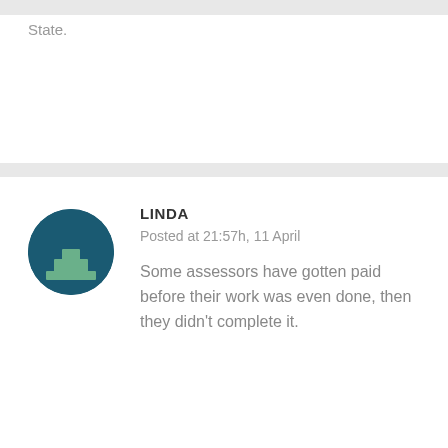State.
LINDA
Posted at 21:57h, 11 April
Some assessors have gotten paid before their work was even done, then they didn't complete it.